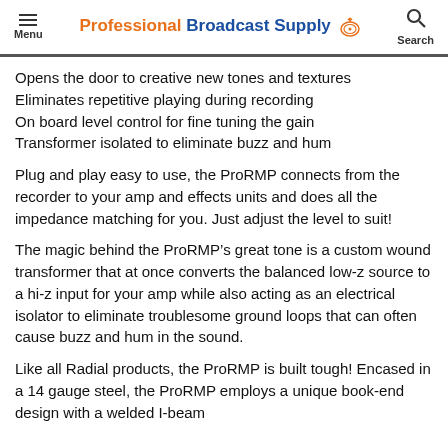Menu | Professional Broadcast Supply | Search
Opens the door to creative new tones and textures
Eliminates repetitive playing during recording
On board level control for fine tuning the gain
Transformer isolated to eliminate buzz and hum
Plug and play easy to use, the ProRMP connects from the recorder to your amp and effects units and does all the impedance matching for you. Just adjust the level to suit!
The magic behind the ProRMP’s great tone is a custom wound transformer that at once converts the balanced low-z source to a hi-z input for your amp while also acting as an electrical isolator to eliminate troublesome ground loops that can often cause buzz and hum in the sound.
Like all Radial products, the ProRMP is built tough! Encased in a 14 gauge steel, the ProRMP employs a unique book-end design with a welded I-beam